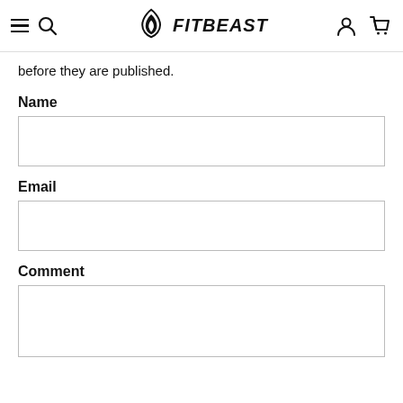FITBEAST – navigation bar with hamburger menu, search, logo, account and cart icons
before they are published.
Name
Email
Comment